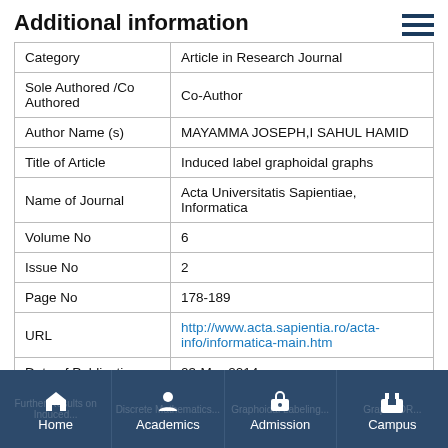Additional information
|  |  |
| --- | --- |
| Category | Article in Research Journal |
| Sole Authored /Co Authored | Co-Author |
| Author Name (s) | MAYAMMA JOSEPH,I SAHUL HAMID |
| Title of Article | Induced label graphoidal graphs |
| Name of Journal | Acta Universitatis Sapientiae, Informatica |
| Volume No | 6 |
| Issue No | 2 |
| Page No | 178-189 |
| URL | http://www.acta.sapientia.ro/acta-info/informatica-main.htm |
| Date of Publication | 03-Mar-2014 |
Home | Academics | Admission | Campus